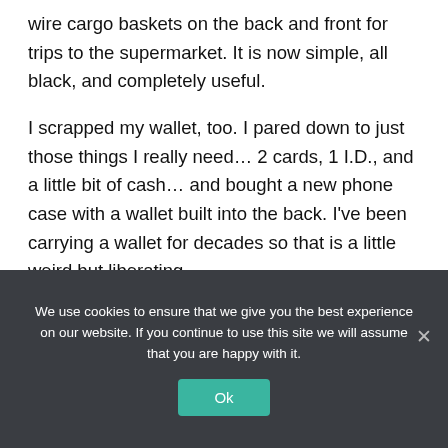wire cargo baskets on the back and front for trips to the supermarket. It is now simple, all black, and completely useful.
I scrapped my wallet, too. I pared down to just those things I really need… 2 cards, 1 I.D., and a little bit of cash… and bought a new phone case with a wallet built into the back. I've been carrying a wallet for decades so that is a little weird but liberating.
We use cookies to ensure that we give you the best experience on our website. If you continue to use this site we will assume that you are happy with it.
Ok